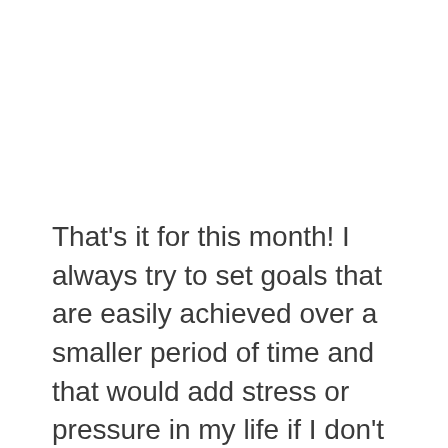That's it for this month! I always try to set goals that are easily achieved over a smaller period of time and that would add stress or pressure in my life if I don't reach them. At the end of the day as long as you're setting goals and being more aware of them than your were in the past then you're already ahead of the game! Did you set goals? If so, let me know what they are and we can use each other as support in reaching our goals. Keep